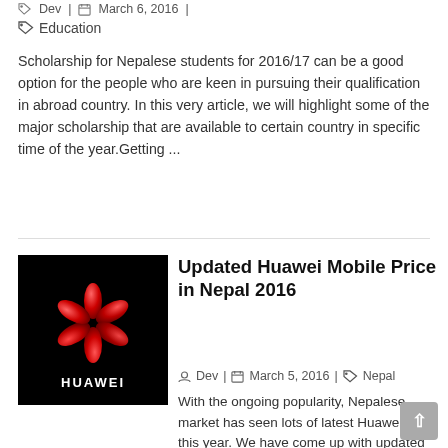Dev | March 6, 2016 |
Education
Scholarship for Nepalese students for 2016/17 can be a good option for the people who are keen in pursuing their qualification in abroad country. In this very article, we will highlight some of the major scholarship that are available to certain country in specific time of the year.Getting ...
Updated Huawei Mobile Price in Nepal 2016
Dev | March 5, 2016 | Nepal
[Figure (logo): Huawei logo on black background with red flower/petal icon and HUAWEI text below]
With the ongoing popularity, Nepalese market has seen lots of latest Huawei sets this year. We have come up with updated Huawei Mobile Price in Nepal for 2016. Please consider that this is only